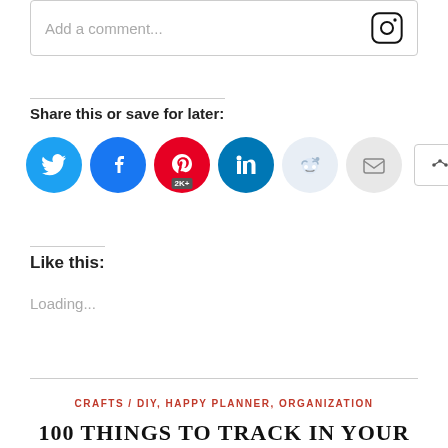[Figure (screenshot): Instagram comment input box with placeholder text 'Add a comment...' and Instagram logo icon on the right]
Share this or save for later:
[Figure (infographic): Row of social sharing buttons: Twitter (blue bird), Facebook (blue f), Pinterest (red P with 2K+ label), LinkedIn (blue in), Reddit (light blue alien), Email (grey envelope), and a More button]
Like this:
Loading...
CRAFTS / DIY, HAPPY PLANNER, ORGANIZATION
100 THINGS TO TRACK IN YOUR